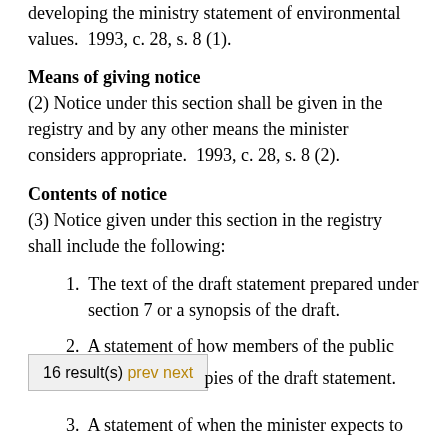developing the ministry statement of environmental values.  1993, c. 28, s. 8 (1).
Means of giving notice
(2) Notice under this section shall be given in the registry and by any other means the minister considers appropriate.  1993, c. 28, s. 8 (2).
Contents of notice
(3) Notice given under this section in the registry shall include the following:
1. The text of the draft statement prepared under section 7 or a synopsis of the draft.
2. A statement of how members of the public may obtain copies of the draft statement.
3. A statement of when the minister expects to